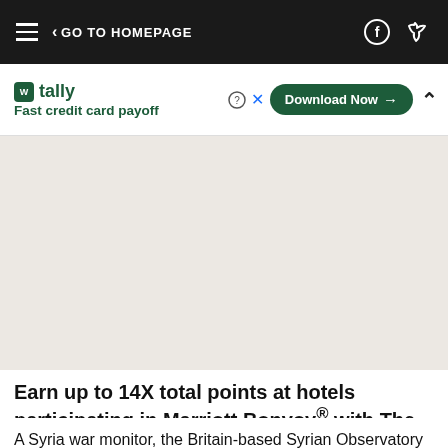< GO TO HOMEPAGE
[Figure (screenshot): Tally app advertisement banner: 'Fast credit card payoff' with Download Now button]
[Figure (other): Gray advertisement placeholder space]
Earn up to 14X total points at hotels participating in Marriott Bonvoy® with The Marriott Bonvoy Bold®
A Syria war monitor, the Britain-based Syrian Observatory for Human Rights, said the operation began with two helicopters landing near the targeted area in the village of al-